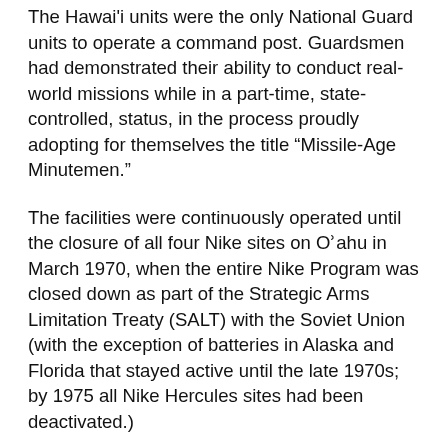The Hawai'i units were the only National Guard units to operate a command post. Guardsmen had demonstrated their ability to conduct real-world missions while in a part-time, state-controlled, status, in the process proudly adopting for themselves the title “Missile-Age Minutemen.”
The facilities were continuously operated until the closure of all four Nike sites on Oʾahu in March 1970, when the entire Nike Program was closed down as part of the Strategic Arms Limitation Treaty (SALT) with the Soviet Union (with the exception of batteries in Alaska and Florida that stayed active until the late 1970s; by 1975 all Nike Hercules sites had been deactivated.)